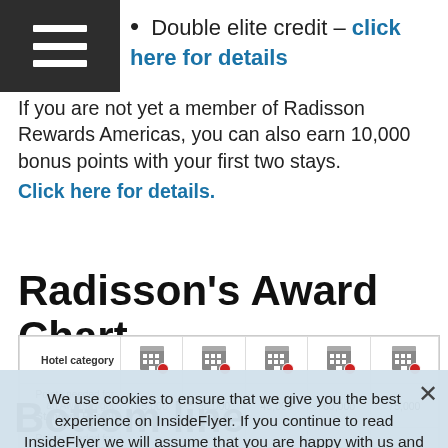Double elite credit – click here for details
If you are not yet a member of Radisson Rewards Americas, you can also earn 10,000 bonus points with your first two stays. Click here for details.
Radisson's Award Chart
| Hotel category | Cat 1 | Cat 2 | Cat 3 | Cat 4 | Cat 5 |
| --- | --- | --- | --- | --- | --- |
| Points needed for an Award Night (Standard Room) | 15,000 | 30,000 | 45,000 | 60,000 | 75,000 |
| Points needed for an Award Night (RewardSaver Standard Room) | 10,000 | 20,000 | 30,000 | 40,000 | 50,000 |
| Points needed for an Award Night (Family Room) | 11,750 | 37,000 | 56,250 | 75,000 | 93,750 |
| Points needed for an Award Night (Points + Cash) | 22,500 | 45,000 | 67,500 | 90,000 | 112,500 |
We use cookies to ensure that we give you the best experience on InsideFlyer. If you continue to read InsideFlyer we will assume that you are happy with us and our cookies.
Bottom line